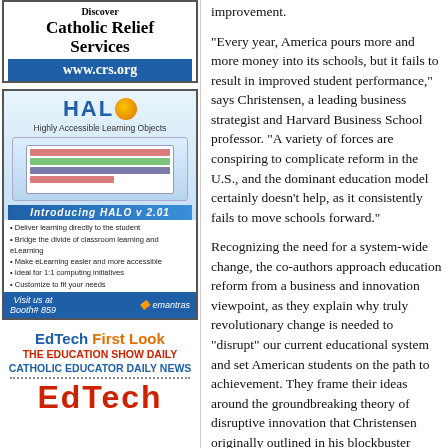[Figure (illustration): Catholic Relief Services advertisement with blue URL bar showing www.crs.org]
[Figure (illustration): HALO (Highly Accessible Learning Objects) advertisement with screen mockup, bullet points, and emantras footer. Introducing HALO v2.01]
[Figure (illustration): EdTech First Look advertisement - The Education Show Daily, Catholic Educator Daily News, with large red EdTech logo]
improvement.
"Every year, America pours more and more money into its schools, but it fails to result in improved student performance," says Christensen, a leading business strategist and Harvard Business School professor. "A variety of forces are conspiring to complicate reform in the U.S., and the dominant education model certainly doesn't help, as it consistently fails to move schools forward."
Recognizing the need for a system-wide change, the co-authors approach education reform from a business and innovation viewpoint, as they explain why truly revolutionary change is needed to "disrupt" our current educational system and set American students on the path to achievement. They frame their ideas around the groundbreaking theory of disruptive innovation that Christensen originally outlined in his blockbuster book, The Innovator's Dilemma. The theory ex